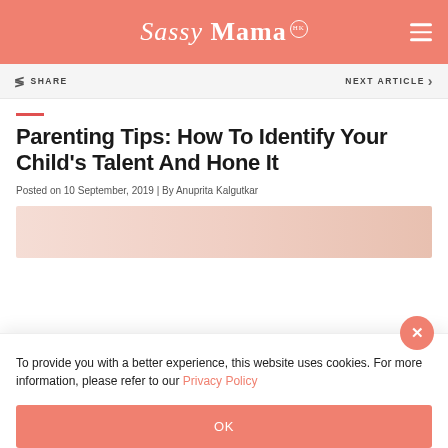Sassy Mama HK
SHARE   NEXT ARTICLE >
Parenting Tips: How To Identify Your Child's Talent And Hone It
Posted on 10 September, 2019 | By Anuprita Kalgutkar
[Figure (photo): Article header image with light peach/salmon gradient]
To provide you with a better experience, this website uses cookies. For more information, please refer to our Privacy Policy
OK